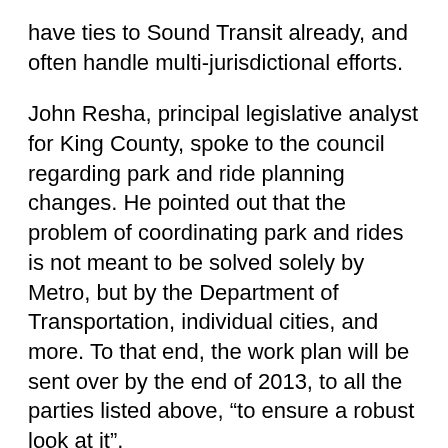have ties to Sound Transit already, and often handle multi-jurisdictional efforts.
John Resha, principal legislative analyst for King County, spoke to the council regarding park and ride planning changes. He pointed out that the problem of coordinating park and rides is not meant to be solved solely by Metro, but by the Department of Transportation, individual cities, and more. To that end, the work plan will be sent over by the end of 2013, to all the parties listed above, “to ensure a robust look at it”.
Resha stated five items the work plan will reflect, all of which a new ordinance will also cover:
1: The role of park and rides and transit